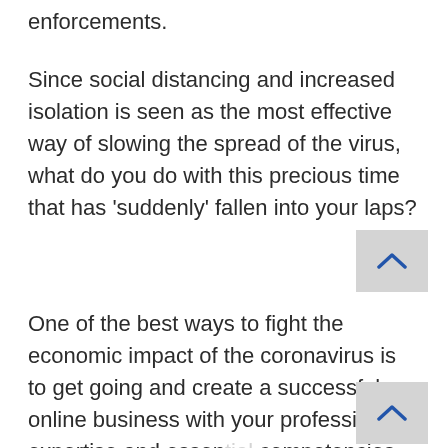enforcements.
Since social distancing and increased isolation is seen as the most effective way of slowing the spread of the virus, what do you do with this precious time that has ‘suddenly’ fallen into your laps?
One of the best ways to fight the economic impact of the coronavirus is to get going and create a successful online business with your professional expertise and essential competencies, skills, abilities, traits, and attitudes.